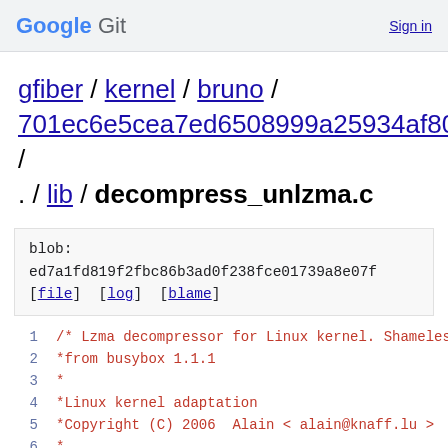Google Git   Sign in
gfiber / kernel / bruno / 701ec6e5cea7ed6508999a25934af807767fe545 / . / lib / decompress_unlzma.c
blob: ed7a1fd819f2fbc86b3ad0f238fce01739a8e07f [file] [log] [blame]
1   /* Lzma decompressor for Linux kernel. Shameless
2   *from busybox 1.1.1
3   *
4   *Linux kernel adaptation
5   *Copyright (C) 2006  Alain < alain@knaff.lu >
6   *
7   *Based on small lzma deflate implementation/Sma
8   *implementation for lzma.
9   *Copyright (C) 2006  Aurelien Jacobs < aurel@g
10  *